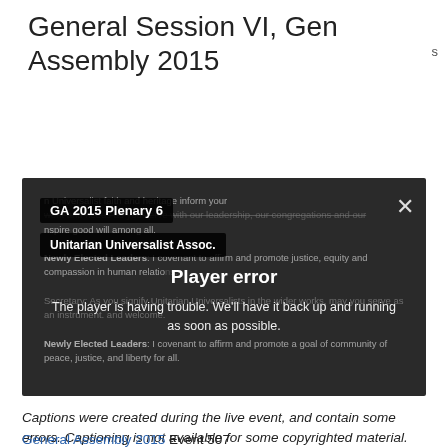General Session VI, General Assembly 2015
[Figure (screenshot): Video player showing GA 2015 Plenary 6 from Unitarian Universalist Assoc., displaying a player error message: 'The player is having trouble. We’ll have it back up and running as soon as possible.' Background shows partially visible text about Newly Elected Leaders covenants.]
Captions were created during the live event, and contain some errors. Captioning is not available for some copyrighted material.
General Assembly 2015 Event 507